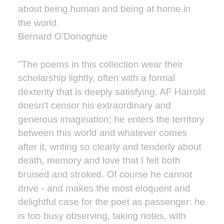about being human and being at home in the world.
Bernard O'Donoghue
"The poems in this collection wear their scholarship lightly, often with a formal dexterity that is deeply satisfying. AF Harrold doesn't censor his extraordinary and generous imagination; he enters the territory between this world and whatever comes after it, writing so clearly and tenderly about death, memory and love that I felt both bruised and stroked. Of course he cannot drive - and makes the most eloquent and delightful case for the poet as passenger: he is too busy observing, taking notes, with accuracy and compassion, never missing a trick, and very much enjoying the ride."
Catherine Smith
"The title poem of A.F. Harrold's second collection presents with acute attention to detail the things most